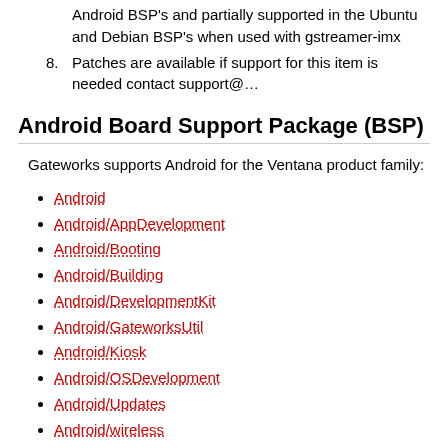Android BSP's and partially supported in the Ubuntu and Debian BSP's when used with gstreamer-imx
8. Patches are available if support for this item is needed contact support@…
Android Board Support Package (BSP)
Gateworks supports Android for the Ventana product family:
Android
Android/AppDevelopment
Android/Booting
Android/Building
Android/DevelopmentKit
Android/GateworksUtil
Android/Kiosk
Android/OSDevelopment
Android/Updates
Android/wireless
OpenWrt Board Support Package (BSP)
The Ventana OpenWrt BSP provides the following:
Linux 4.4 kernel (fairly vanilla)
latest wireless drivers (compat-wireless)